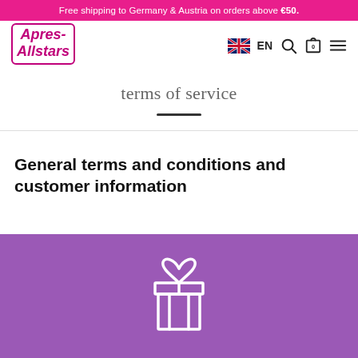Free shipping to Germany & Austria on orders above €50.
[Figure (logo): Apres-Allstars logo with stylized text in pink/red italic font inside a rounded border]
terms of service
General terms and conditions and customer information
[Figure (illustration): White gift box icon on purple background]